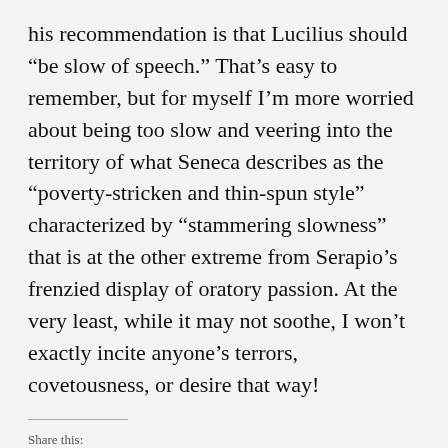his recommendation is that Lucilius should “be slow of speech.” That’s easy to remember, but for myself I’m more worried about being too slow and veering into the territory of what Seneca describes as the “poverty-stricken and thin-spun style” characterized by “stammering slowness” that is at the other extreme from Serapio’s frenzied display of oratory passion. At the very least, while it may not soothe, I won’t exactly incite anyone’s terrors, covetousness, or desire that way!
Share this:
Twitter
Facebook
Email
Reddit